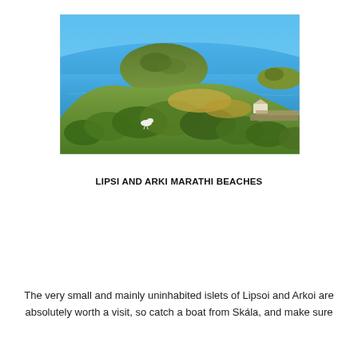[Figure (photo): Aerial/elevated view of a Greek island landscape showing green shrubby hills in the foreground, a calm blue Aegean sea, and smaller rocky islets in the background under a clear blue sky. A white goat or sheep is visible on the hillside.]
LIPSI AND ARKI MARATHI BEACHES
The very small and mainly uninhabited islets of Lipsoi and Arkoi are absolutely worth a visit, so catch a boat from Skála, and make sure